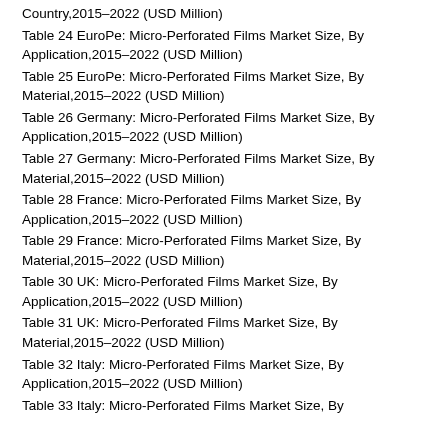Country,2015–2022 (USD Million)
Table 24 EuroPe: Micro-Perforated Films Market Size, By Application,2015–2022 (USD Million)
Table 25 EuroPe: Micro-Perforated Films Market Size, By Material,2015–2022 (USD Million)
Table 26 Germany: Micro-Perforated Films Market Size, By Application,2015–2022 (USD Million)
Table 27 Germany: Micro-Perforated Films Market Size, By Material,2015–2022 (USD Million)
Table 28 France: Micro-Perforated Films Market Size, By Application,2015–2022 (USD Million)
Table 29 France: Micro-Perforated Films Market Size, By Material,2015–2022 (USD Million)
Table 30 UK: Micro-Perforated Films Market Size, By Application,2015–2022 (USD Million)
Table 31 UK: Micro-Perforated Films Market Size, By Material,2015–2022 (USD Million)
Table 32 Italy: Micro-Perforated Films Market Size, By Application,2015–2022 (USD Million)
Table 33 Italy: Micro-Perforated Films Market Size, By